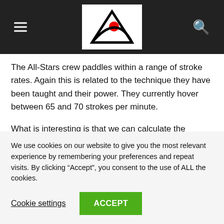[Navigation header with hamburger menu, logo, and search icon]
The All-Stars crew paddles within a range of stroke rates. Again this is related to the technique they have been taught and their power. They currently hover between 65 and 70 strokes per minute.
What is interesting is that we can calculate the expected 500m time for our All-Stars crew based on these two measures.
We use cookies on our website to give you the most relevant experience by remembering your preferences and repeat visits. By clicking “Accept”, you consent to the use of ALL the cookies.